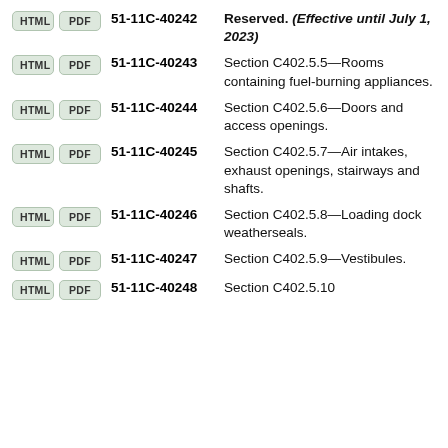51-11C-40242 Reserved. (Effective until July 1, 2023)
51-11C-40243 Section C402.5.5—Rooms containing fuel-burning appliances.
51-11C-40244 Section C402.5.6—Doors and access openings.
51-11C-40245 Section C402.5.7—Air intakes, exhaust openings, stairways and shafts.
51-11C-40246 Section C402.5.8—Loading dock weatherseals.
51-11C-40247 Section C402.5.9—Vestibules.
51-11C-40248 Section C402.5.10